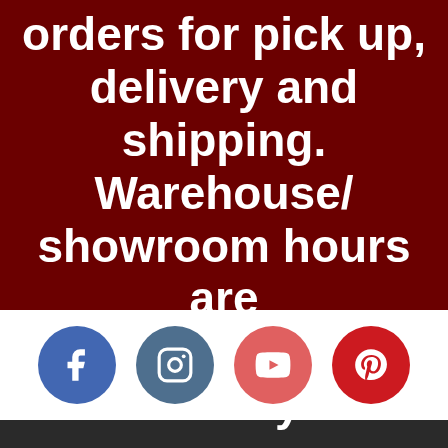orders for pick up, delivery and shipping. Warehouse/showroom hours are 9am to 5pm weekdays.
[Figure (infographic): Four social media icons in circles: Facebook (blue), Instagram (steel blue), YouTube (salmon-red), Pinterest (red)]